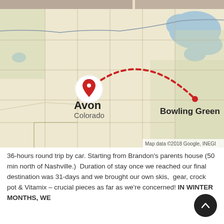[Figure (map): Google Maps screenshot showing a dotted red arc route from Avon, Colorado to Bowling Green. The map displays the central and eastern United States with state boundaries, the Great Lakes visible in the upper right. A red pin marker is at Avon, Colorado and a red dot at Bowling Green. Map data ©2018 Google, INEGI watermark at bottom right.]
36-hours round trip by car. Starting from Brandon's parents house (50 min north of Nashville.)  Duration of stay once we reached our final destination was 31-days and we brought our own skis,  gear, crock pot & Vitamix – crucial pieces as far as we're concerned! IN WINTER MONTHS, WE